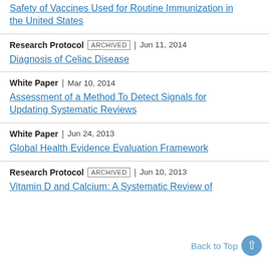Safety of Vaccines Used for Routine Immunization in the United States
Research Protocol | ARCHIVED | Jun 11, 2014 — Diagnosis of Celiac Disease
White Paper | Mar 10, 2014 — Assessment of a Method To Detect Signals for Updating Systematic Reviews
White Paper | Jun 24, 2013 — Global Health Evidence Evaluation Framework
Research Protocol | ARCHIVED | Jun 10, 2013 — Vitamin D and Calcium: A Systematic Review of